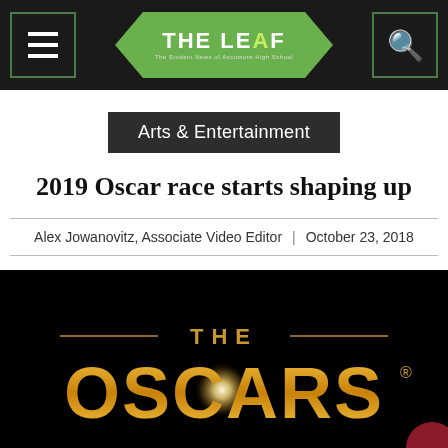THE LEAF — The Student News of Accumore High School
Arts & Entertainment
2019 Oscar race starts shaping up
Alex Jowanovitz, Associate Video Editor | October 23, 2018
[Figure (photo): The Oscars logo on a black background with gold text reading 'THE OSCARS' and a starburst light effect. A dark red circle is visible in the lower right corner.]